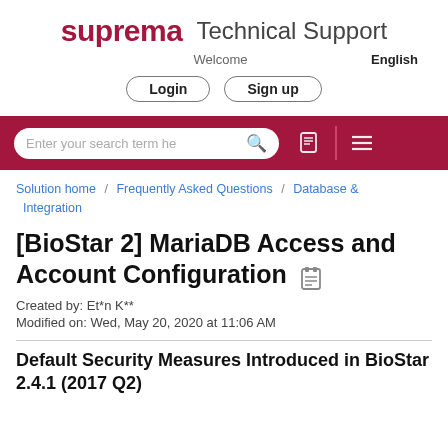[Figure (logo): Suprema Technical Support logo with text 'suprema Technical Support', 'Welcome', 'English', Login and Sign up buttons]
[Figure (screenshot): Dark red search bar with rounded search input field showing placeholder text 'Enter your search term he', a search icon, document icon, vertical divider, and hamburger menu icon]
Solution home / Frequently Asked Questions / Database & Integration
[BioStar 2] MariaDB Access and Account Configuration
Created by: Et*n K**
Modified on: Wed, May 20, 2020 at 11:06 AM
Default Security Measures Introduced in BioStar 2.4.1 (2017 Q2)